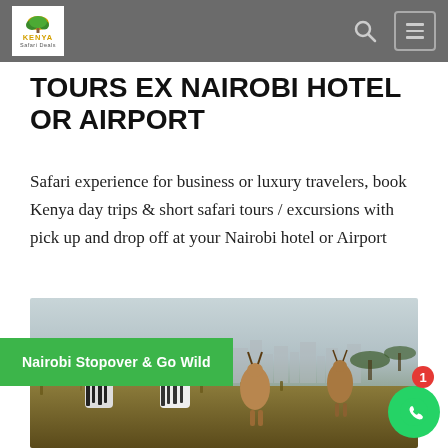Kenya Safari Deals – navigation header with logo, search, and menu
TOURS EX NAIROBI HOTEL OR AIRPORT
Safari experience for business or luxury travelers, book Kenya day trips & short safari tours / excursions with pick up and drop off at your Nairobi hotel or Airport
[Figure (photo): Safari photo showing zebras and antelopes in Nairobi National Park grasslands with city skyline in misty background. A green banner overlaid reads 'Nairobi Stopover & Go Wild'.]
Nairobi Stopover & Go Wild